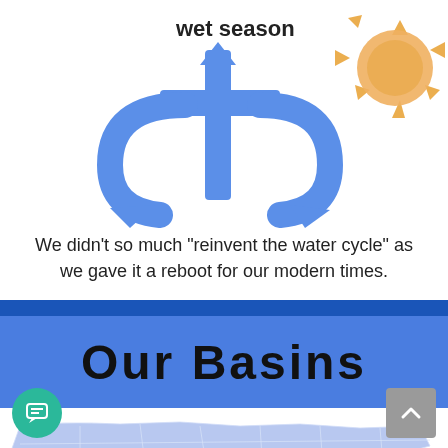[Figure (illustration): Circular water cycle diagram showing 'wet season' label with a blue circular arrow and a sun graphic (orange/brown) in the upper right, partially cropped at the top of the page.]
We didn't so much "reinvent the water cycle" as we gave it a reboot for our modern times.
Our Basins
[Figure (map): Partial map of Florida counties shown in light blue/lavender tones, cropped at bottom of page.]